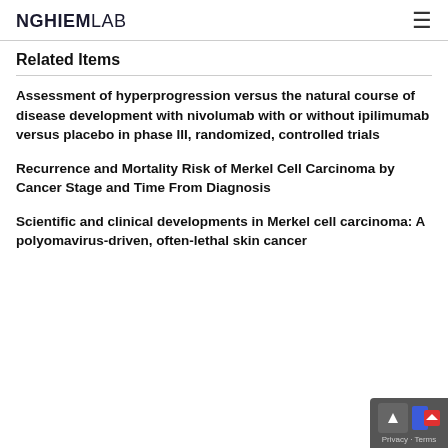NGHIEMLAB
Related Items
Assessment of hyperprogression versus the natural course of disease development with nivolumab with or without ipilimumab versus placebo in phase III, randomized, controlled trials
Recurrence and Mortality Risk of Merkel Cell Carcinoma by Cancer Stage and Time From Diagnosis
Scientific and clinical developments in Merkel cell carcinoma: A polyomavirus-driven, often-lethal skin cancer